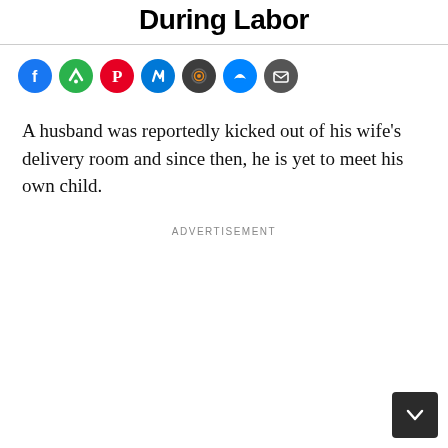During Labor
[Figure (other): Row of social media sharing icon buttons: Facebook (blue), Feedly (green), Pinterest (red), News (red/blue), a camera/radio icon (dark with orange center), Messenger (blue), Email (dark gray)]
A husband was reportedly kicked out of his wife’s delivery room and since then, he is yet to meet his own child.
ADVERTISEMENT